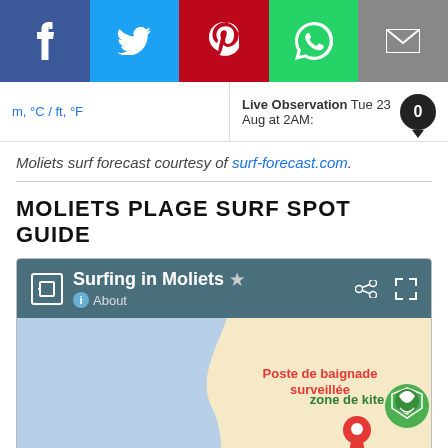[Figure (screenshot): Social sharing bar with Facebook, Twitter, Pinterest, WhatsApp, and Email buttons]
m, °C / ft, °F
Live Observation Tue 23 Aug at 2AM: 0
Moliets surf forecast courtesy of surf-forecast.com.
MOLIETS PLAGE SURF SPOT GUIDE
[Figure (screenshot): Google Maps embed showing Surfing in Moliets, with map header bar showing title, star, share and expand icons, and a map with beach coastline, zone de kite marker and Poste de baignade surveillée location pin]